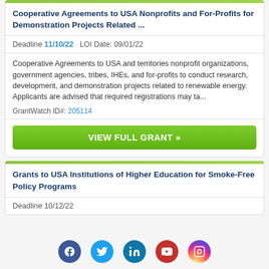Cooperative Agreements to USA Nonprofits and For-Profits for Demonstration Projects Related ...
Deadline 11/10/22   LOI Date: 09/01/22
Cooperative Agreements to USA and territories nonprofit organizations, government agencies, tribes, IHEs, and for-profits to conduct research, development, and demonstration projects related to renewable energy. Applicants are advised that required registrations may ta...

GrantWatch ID#: 205114
VIEW FULL GRANT »
Grants to USA Institutions of Higher Education for Smoke-Free Policy Programs
Deadline 10/12/22
[Figure (other): Social media icons row: Facebook, Twitter, LinkedIn, YouTube, Instagram]